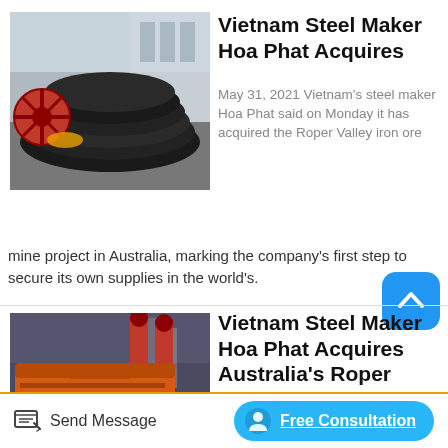[Figure (photo): Industrial steel coil/spiral equipment on ground outdoors near building]
Vietnam Steel Maker Hoa Phat Acquires
May 31, 2021 Vietnam's steel maker Hoa Phat said on Monday it has acquired the Roper Valley iron ore mine project in Australia, marking the company's first step to secure its own supplies in the world's.
[Figure (photo): Large orange industrial steel processing machine in factory]
Vietnam Steel Maker Hoa Phat Acquires Australia's Roper
May 31, 2021 A dds detail and background. HANOI,
Send Message
Free Consultation